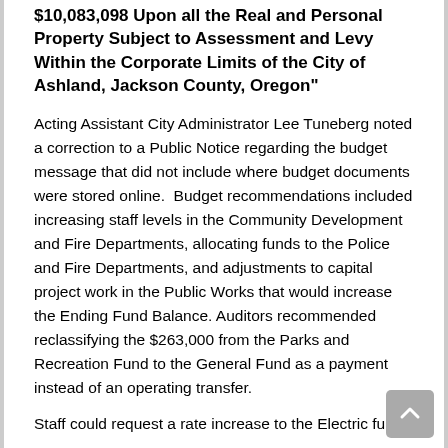$10,083,098 Upon all the Real and Personal Property Subject to Assessment and Levy Within the Corporate Limits of the City of Ashland, Jackson County, Oregon"
Acting Assistant City Administrator Lee Tuneberg noted a correction to a Public Notice regarding the budget message that did not include where budget documents were stored online.  Budget recommendations included increasing staff levels in the Community Development and Fire Departments, allocating funds to the Police and Fire Departments, and adjustments to capital project work in the Public Works that would increase the Ending Fund Balance. Auditors recommended reclassifying the $263,000 from the Parks and Recreation Fund to the General Fund as a payment instead of an operating transfer.
Staff could request a rate increase to the Electric fund